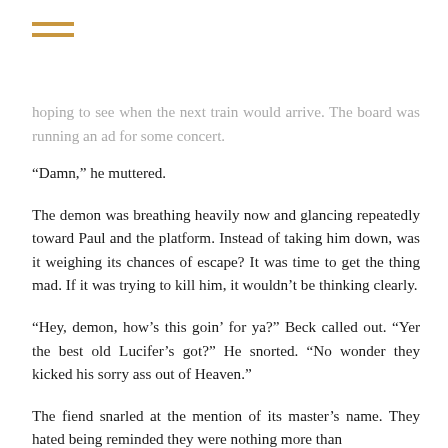≡ (hamburger menu icon)
hoping to see when the next train would arrive. The board was running an ad for some concert.
“Damn,” he muttered.
The demon was breathing heavily now and glancing repeatedly toward Paul and the platform. Instead of taking him down, was it weighing its chances of escape? It was time to get the thing mad. If it was trying to kill him, it wouldn’t be thinking clearly.
“Hey, demon, how’s this goin’ for ya?” Beck called out. “Yer the best old Lucifer’s got?” He snorted. “No wonder they kicked his sorry ass out of Heaven.”
The fiend snarled at the mention of its master’s name. They hated being reminded they were nothing more than